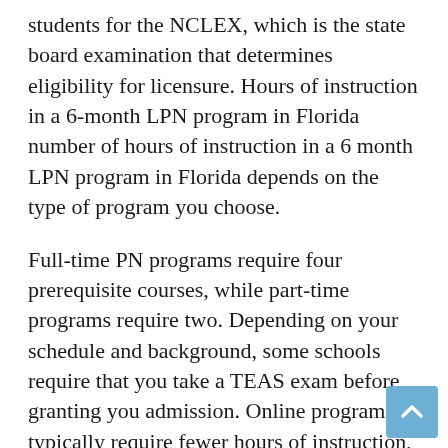students for the NCLEX, which is the state board examination that determines eligibility for licensure. Hours of instruction in a 6-month LPN program in Florida number of hours of instruction in a 6 month LPN program in Florida depends on the type of program you choose.
Full-time PN programs require four prerequisite courses, while part-time programs require two. Depending on your schedule and background, some schools require that you take a TEAS exam before granting you admission. Online programs typically require fewer hours of instruction, but they should still be comprehensive enough to prepare you for entry-level work. According to the Florida Center for Nursing, there are more than 72,630 licensed practical nurses working in the state. While this is a steady supply, the number of LPNs is expected to rise as